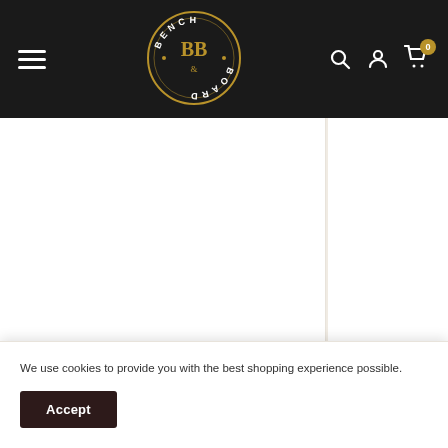[Figure (logo): Bench & Board circular logo on black header background with hamburger menu, search, user, and cart icons]
[Figure (photo): White product image area for Perfumed Soap - Panier Des Sens]
Perfumed Soap - Panier Des Sens
$7.00
[Figure (photo): White product image area for Rainier Candle - Balsam Needle & Citrus (partially visible)]
Rainier Candle - Balsam Needle & Citrus
$25.00
We use cookies to provide you with the best shopping experience possible.